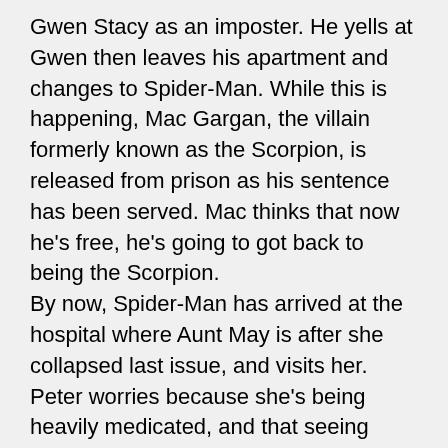Gwen Stacy as an imposter. He yells at Gwen then leaves his apartment and changes to Spider-Man. While this is happening, Mac Gargan, the villain formerly known as the Scorpion, is released from prison as his sentence has been served. Mac thinks that now he's free, he's going to got back to being the Scorpion.
By now, Spider-Man has arrived at the hospital where Aunt May is after she collapsed last issue, and visits her. Peter worries because she's being heavily medicated, and that seeing Gwen alive was what caused her to collapse. Whilst Peter visits Aunt May, the Scorpion attacks a bank, and successfully steals a few bags of money from it.
Peter has fallen asleep, and has a nightmare about Gwen's death and the Green Goblin. In the nightmare, he sees that Gwen's alive, and Aunt May dead. Upon his waking up, Peter hears the radio report about how the Scorpion robbed the bank. Peter is ready for some action.